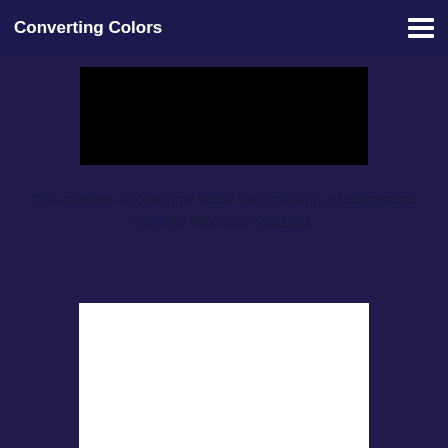Converting Colors
[Figure (other): Black color swatch rectangle on dark navy background]
This preview shows how black text looks on a background with the Hex color 201B4B.
[Figure (other): White color swatch rectangle on dark navy background]